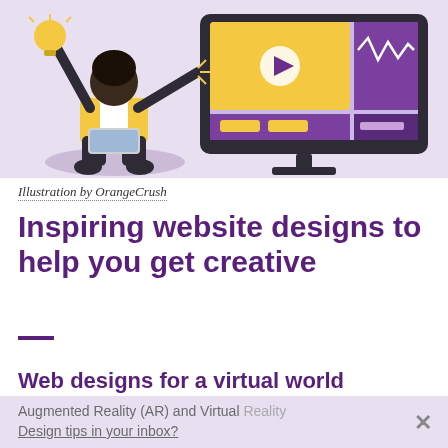[Figure (illustration): Illustration of a person sitting cross-legged with a laptop, holding up a lightbulb, beside a large monitor showing a web interface with video player and UI elements. Purple/lavender background.]
Illustration by OrangeCrush
Inspiring website designs to help you get creative
Web designs for a virtual world
Augmented Reality (AR) and Virtual Reality
Design tips in your inbox?